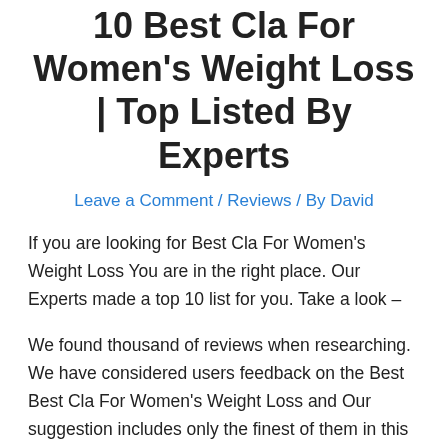10 Best Cla For Women's Weight Loss | Top Listed By Experts
Leave a Comment / Reviews / By David
If you are looking for Best Cla For Women's Weight Loss You are in the right place. Our Experts made a top 10 list for you. Take a look –
We found thousand of reviews when researching. We have considered users feedback on the Best Best Cla For Women's Weight Loss and Our suggestion includes only the finest of them in this articles.
10 Best Cla For Women's Weight Loss